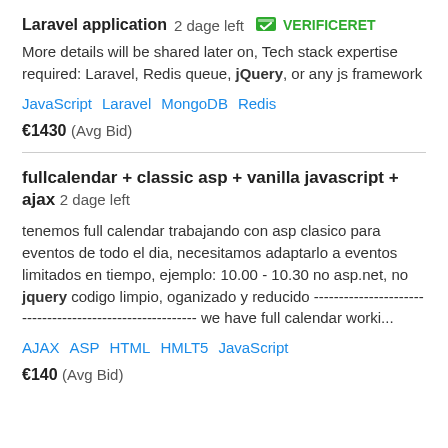Laravel application  2 dage left  VERIFICERET
More details will be shared later on, Tech stack expertise required: Laravel, Redis queue, jQuery, or any js framework
JavaScript   Laravel   MongoDB   Redis
€1430  (Avg Bid)
fullcalendar + classic asp + vanilla javascript + ajax  2 dage left
tenemos full calendar trabajando con asp clasico para eventos de todo el dia, necesitamos adaptarlo a eventos limitados en tiempo, ejemplo: 10.00 - 10.30 no asp.net, no jquery codigo limpio, oganizado y reducido -------------------- ----------------------------------- we have full calendar worki...
AJAX   ASP   HTML   HMLT5   JavaScript
€140  (Avg Bid)